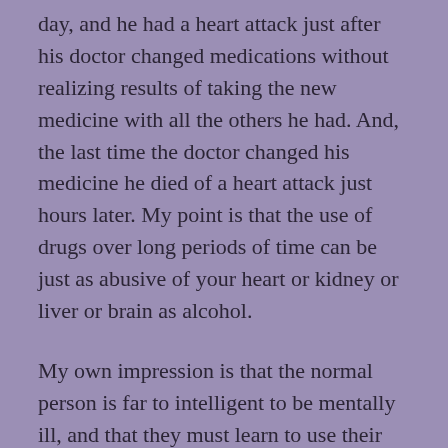day, and he had a heart attack just after his doctor changed medications without realizing results of taking the new medicine with all the others he had. And, the last time the doctor changed his medicine he died of a heart attack just hours later. My point is that the use of drugs over long periods of time can be just as abusive of your heart or kidney or liver or brain as alcohol.
My own impression is that the normal person is far to intelligent to be mentally ill, and that they must learn to use their brain to understand, know that depression is curable, that medication should only be temporary for them or their children, that they have a friend in themselves and in you.